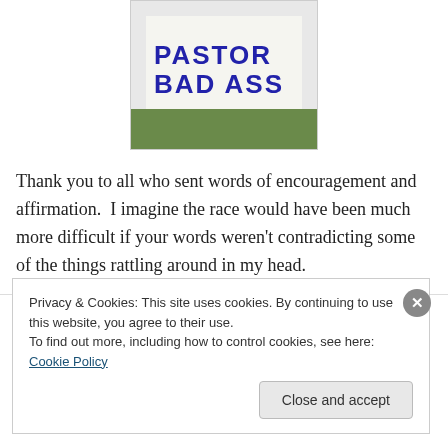[Figure (photo): A sign being held up reading 'PASTOR BAD ASS' in large blue stencil letters on a white board, with green background visible below.]
Thank you to all who sent words of encouragement and affirmation.  I imagine the race would have been much more difficult if your words weren't contradicting some of the things rattling around in my head.
Privacy & Cookies: This site uses cookies. By continuing to use this website, you agree to their use.
To find out more, including how to control cookies, see here: Cookie Policy
Close and accept